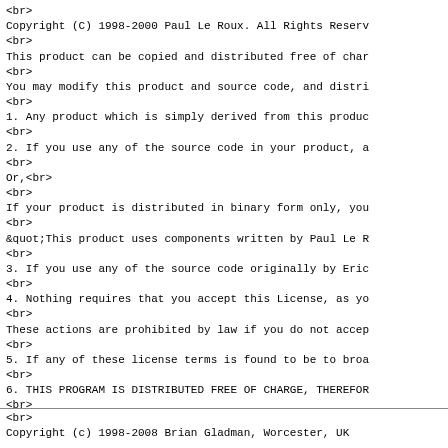<br>
Copyright (C) 1998-2000 Paul Le Roux. All Rights Reserv
<br>
This product can be copied and distributed free of char
<br>
You may modify this product and source code, and distri
<br>
1. Any product which is simply derived from this produ
<br>
2. If you use any of the source code in your product, a
<br>
Or,<br>
<br>
If your product is distributed in binary form only, you
<br>
&quot;This product uses components written by Paul Le R
<br>
3. If you use any of the source code originally by Eric
<br>
4. Nothing requires that you accept this License, as yo
<br>
These actions are prohibited by law if you do not accep
<br>
5. If any of these license terms is found to be to broa
<br>
6. THIS PROGRAM IS DISTRIBUTED FREE OF CHARGE, THEREFOR
<br>
7. IN NO EVENT UNLESS REQUIRED BY APPLICABLE LAW OR AGR
<br>
Copyright (c) 1998-2008 Brian Gladman, Worcester, UK